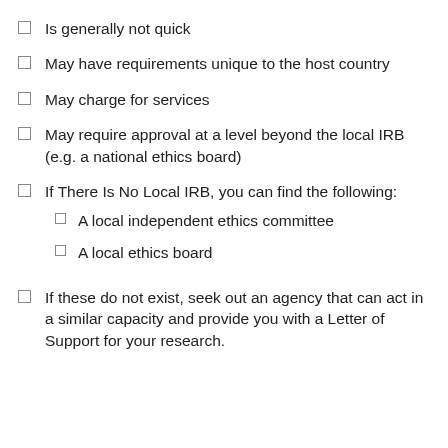Is generally not quick
May have requirements unique to the host country
May charge for services
May require approval at a level beyond the local IRB (e.g. a national ethics board)
If There Is No Local IRB, you can find the following: A local independent ethics committee; A local ethics board
If these do not exist, seek out an agency that can act in a similar capacity and provide you with a Letter of Support for your research.